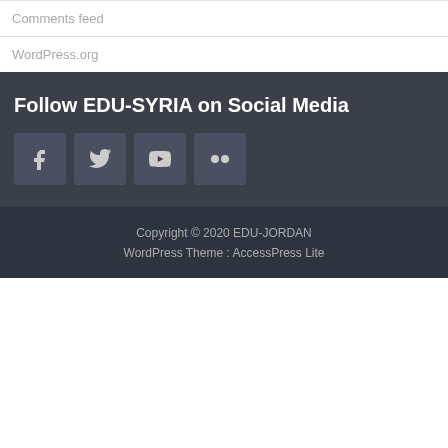Comments feed
WordPress.org
Follow EDU-SYRIA on Social Media
[Figure (other): Row of four social media icon buttons: Facebook, Twitter, YouTube, Flickr on dark background]
Copyright © 2020 EDU-JORDAN
WordPress Theme : AccessPress Lite